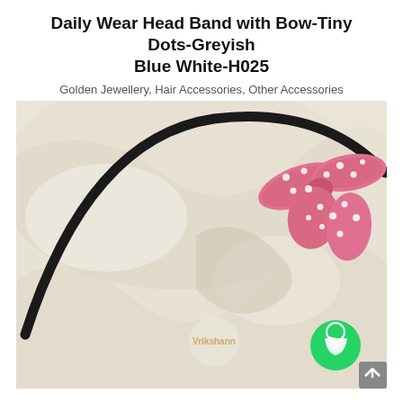Daily Wear Head Band with Bow-Tiny Dots-Greyish Blue White-H025
Golden Jewellery, Hair Accessories, Other Accessories
₹99.00
[Figure (photo): Photo of a pink polka-dot bow headband with a black band, laid on a cream/off-white fabric background. The headband curves across the image, with the pink bow featuring white dots visible on the right side. A watermark logo and a WhatsApp icon are visible at the bottom.]